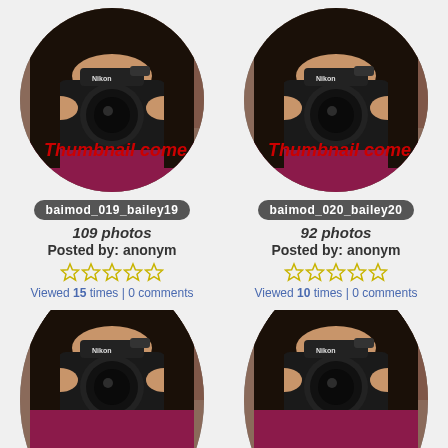[Figure (photo): Circular thumbnail placeholder showing woman holding Nikon camera with red italic text 'Thumbnail come soon' overlaid]
baimod_019_bailey19
109 photos
Posted by: anonym
Viewed 15 times | 0 comments
[Figure (photo): Circular thumbnail placeholder showing woman holding Nikon camera with red italic text 'Thumbnail come soon' overlaid]
baimod_020_bailey20
92 photos
Posted by: anonym
Viewed 10 times | 0 comments
[Figure (photo): Partial circular thumbnail at bottom showing woman holding Nikon camera]
[Figure (photo): Partial circular thumbnail at bottom showing woman holding Nikon camera]